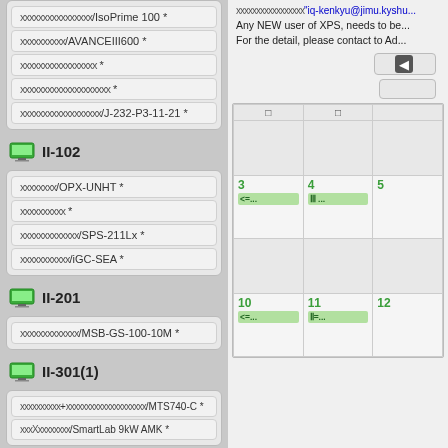xxxxxxxxxxxxxxxx/IsoPrime 100 *
xxxxxxxxxx/AVANCEIII600 *
xxxxxxxxxxxxxxxxx *
xxxxxxxxxxxxxxxxxxxx *
xxxxxxxxxxxxxxxxxx/J-232-P3-11-21 *
II-102
xxxxxxxx/OPX-UNHT *
xxxxxxxxxx *
xxxxxxxxxxxxx/SPS-211Lx *
xxxxxxxxxxx/iGC-SEA *
II-201
xxxxxxxxxxxxx/MSB-GS-100-10M *
II-301(1)
xxxxxxxxxx+xxxxxxxxxxxxxxxxxxxx/MTS740-C *
xxxXxxxxxxxx/SmartLab 9kW AMK *
xxxxxxxxxxxxxxxxx"iq-kenkyu@jimu.kyshu...
Any NEW user of XPS, needs to be...
For the detail, please contact to Ad...
| □ | □ |  |
| --- | --- | --- |
|  |  |  |
| 3 | 4 | 5 |
| <=... | Ⅲ ... |  |
|  |  |  |
| 10 | 11 | 12 |
| <=... | Ⅱ=... |  |